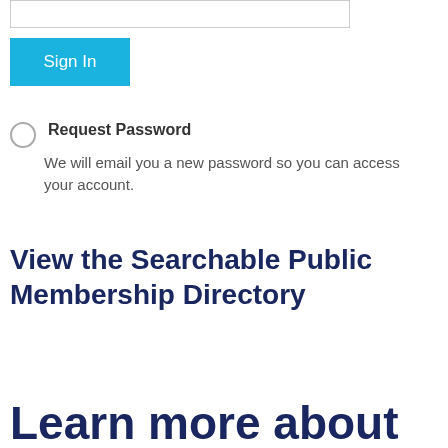[Figure (screenshot): Text input field (password or username input box)]
Sign In
Request Password
We will email you a new password so you can access your account.
View the Searchable Public Membership Directory
Learn more about